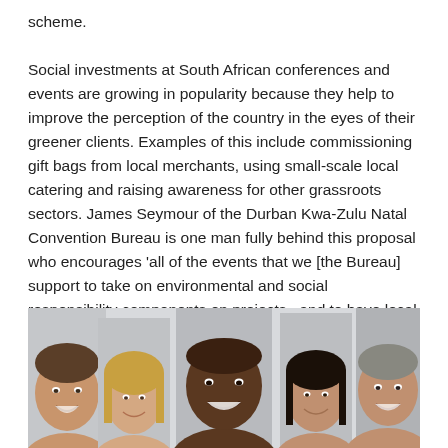scheme.

Social investments at South African conferences and events are growing in popularity because they help to improve the perception of the country in the eyes of their greener clients. Examples of this include commissioning gift bags from local merchants, using small-scale local catering and raising awareness for other grassroots sectors. James Seymour of the Durban KwaZulu Natal Convention Bureau is one man fully behind this proposal who encourages 'all of the events that we [the Bureau] support to take on environmental and social responsibility components on projects...and to have local crafters exhibit at their meetings'.
[Figure (photo): A group of five diverse smiling people (three men and two women) photographed from the shoulders up against a light grey background.]